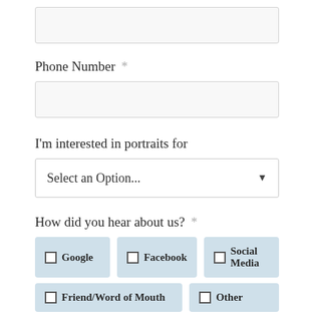[Figure (screenshot): Empty text input field at the top of the form]
Phone Number *
[Figure (screenshot): Empty text input field for Phone Number]
I'm interested in portraits for
[Figure (screenshot): Dropdown select field showing 'Select an Option...']
How did you hear about us? *
Google
Facebook
Social Media
Friend/Word of Mouth
Other